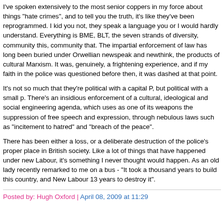I've spoken extensively to the most senior coppers in my force about things "hate crimes", and to tell you the truth, it's like they've been reprogrammed. I kid you not, they speak a language you or I would hardly understand. Everything is BME, BLT, the seven strands of diversity, community this, community that. The impartial enforcement of law has long been buried under Orwellian newspeak and newthink, the products of cultural Marxism. It was, genuinely, a frightening experience, and if my faith in the police was questioned before then, it was dashed at that point.
It's not so much that they're political with a capital P, but political with a small p. There's an insidious enforcement of a cultural, ideological and social engineering agenda, which uses as one of its weapons the suppression of free speech and expression, through nebulous laws such as "incitement to hatred" and "breach of the peace".
There has been either a loss, or a deliberate destruction of the police's proper place in British society. Like a lot of things that have happened under new Labour, it's something I never thought would happen. As an old lady recently remarked to me on a bus - "It took a thousand years to build this country, and New Labour 13 years to destroy it".
Posted by: Hugh Oxford | April 08, 2009 at 11:29